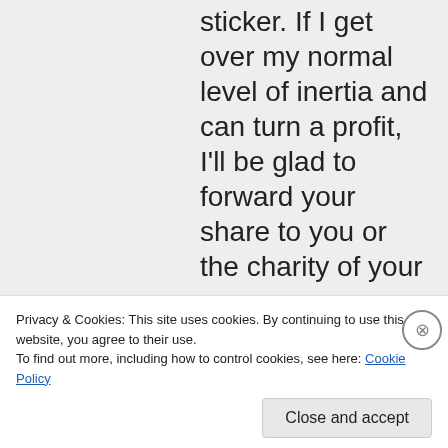sticker. If I get over my normal level of inertia and can turn a profit, I'll be glad to forward your share to you or the charity of your
Privacy & Cookies: This site uses cookies. By continuing to use this website, you agree to their use.
To find out more, including how to control cookies, see here: Cookie Policy